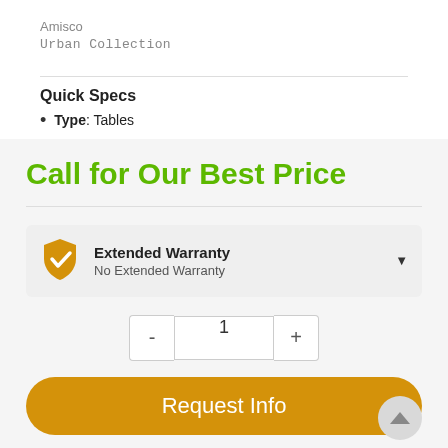Amisco
Urban Collection
Quick Specs
Type: Tables
Call for Our Best Price
Extended Warranty
No Extended Warranty
1
Request Info